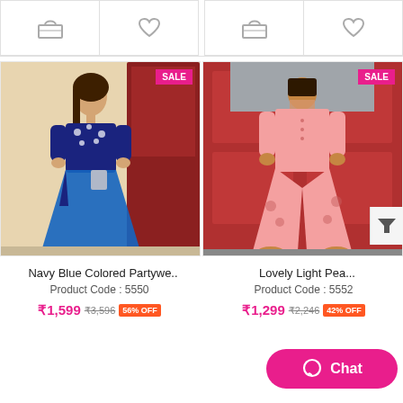[Figure (other): Top action bar with bag and heart icons for two products]
[Figure (photo): Navy Blue Colored Partywear ethnic dress on model with SALE badge]
Navy Blue Colored Partywe..
Product Code : 5550
₹1,599  ₹3,596  56% OFF
[Figure (photo): Lovely Light Peach colored palazzo set on model with SALE badge]
Lovely Light Pea...
Product Code : 5552
₹1,299  ₹2,246  42% OFF